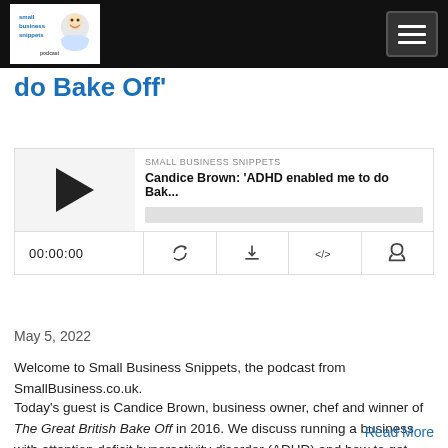Small Business Snippets
do Bake Off'
[Figure (screenshot): Podcast player widget showing 'SMALL BUSINESS SNIPPETS' label, title 'Candice Brown: ADHD enabled me to do Bak...', play button, progress bar, time 00:00:00, and control icons (RSS, download, embed, headphones)]
May 5, 2022
Welcome to Small Business Snippets, the podcast from SmallBusiness.co.uk.
Today's guest is Candice Brown, business owner, chef and winner of The Great British Bake Off in 2016. We discuss running a business with attention deficit hyperactivity disorder (ADHD) and how to get involved in causes you care about.

This...
Read More